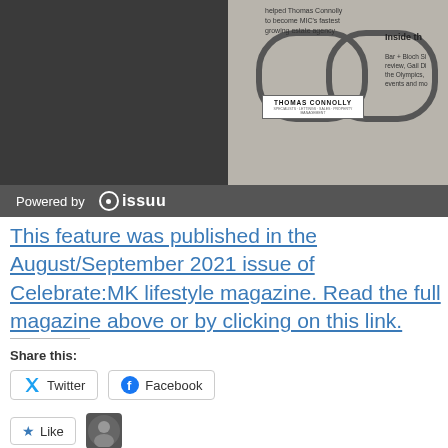[Figure (screenshot): Top portion showing a magazine preview embed with Thomas Connolly advertisement and 'Inside th...' text, on a dark gray background]
Powered by issuu
This feature was published in the August/September 2021 issue of Celebrate:MK lifestyle magazine. Read the full magazine above or by clicking on this link.
Share this:
Twitter
Facebook
Like
One blogger likes this.